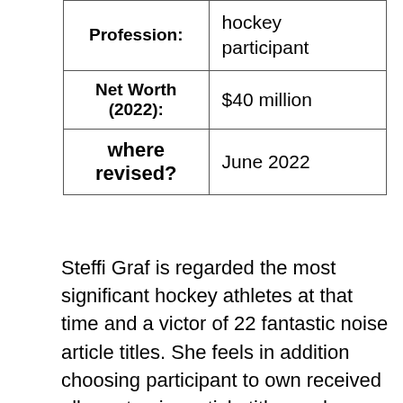|  |  |
| --- | --- |
| Profession: | hockey participant |
| Net Worth (2022): | $40 million |
| where revised? | June 2022 |
Steffi Graf is regarded the most significant hockey athletes at that time and a victor of 22 fantastic noise article titles. She feels in addition choosing participant to own received all great noise article titles and Olympic golden in identical annum.